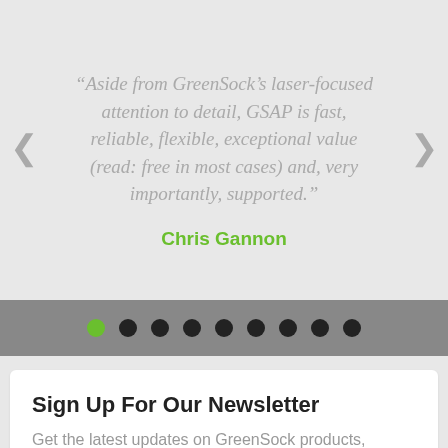“Aside from GreenSock’s laser-focused attention to detail, GSAP is fast, reliable, flexible, exceptional value (read: free in most cases) and, very importantly, supported.”
Chris Gannon
[Figure (other): Carousel navigation dots: one green active dot followed by eight black dots, on a grey bar background]
Sign Up For Our Newsletter
Get the latest updates on GreenSock products, exclusive offers, and more right in your inbox.